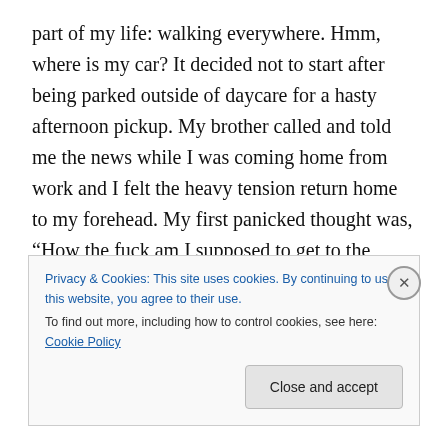part of my life: walking everywhere. Hmm, where is my car? It decided not to start after being parked outside of daycare for a hasty afternoon pickup. My brother called and told me the news while I was coming home from work and I felt the heavy tension return home to my forehead. My first panicked thought was, “How the fuck am I supposed to get to the gym?” I can’t stop obsessing about this.

With the chaos of all that’s going on in my life, this is the least of my worries but I am fixated. Somehow my ability
Privacy & Cookies: This site uses cookies. By continuing to use this website, you agree to their use.
To find out more, including how to control cookies, see here: Cookie Policy
Close and accept